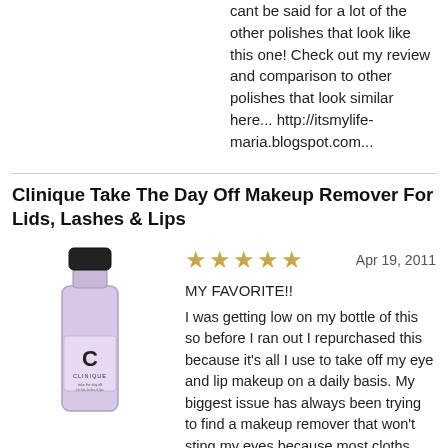cant be said for a lot of the other polishes that look like this one! Check out my review and comparison to other polishes that look similar here... http://itsmylife-maria.blogspot.com...
Clinique Take The Day Off Makeup Remover For Lids, Lashes & Lips
[Figure (photo): Clinique Take The Day Off makeup remover bottle — light purple/lavender bottle with black cap and white Clinique label]
★★★★★   Apr 19, 2011
MY FAVORITE!!
I was getting low on my bottle of this so before I ran out I repurchased this because it's all I use to take off my eye and lip makeup on a daily basis. My biggest issue has always been trying to find a makeup remover that won't sting my eyes because most cloths and removers are scented and even if they claim not to be they still sting my eyes and I can't deal with that. That's what I love about